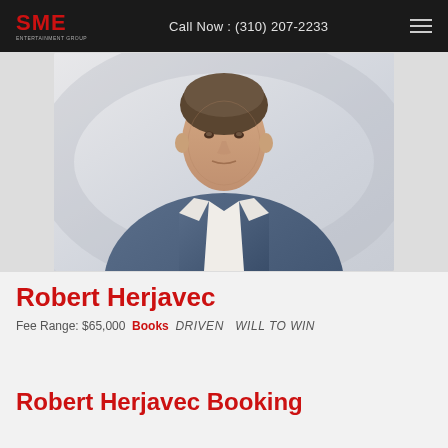SME | Call Now : (310) 207-2233
[Figure (photo): Professional headshot of Robert Herjavec, a man in a blue blazer and white shirt, against a light background]
Robert Herjavec
Fee Range: $65,000  Books  DRIVEN  WILL TO WIN
Robert Herjavec Booking